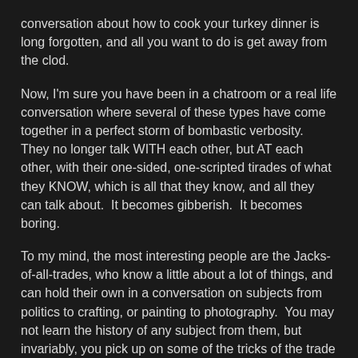conversation about how to cook your turkey dinner is long forgotten, and all you want to do is get away from the clod.
Now, I'm sure you have been in a chatroom or a real life conversation where several of these types have come together in a perfect storm of bombastic verbosity.  They no longer talk WITH each other, but AT each other, with their one-sided, one-scripted tirades of what they KNOW, which is all that they know, and all they can talk about.  It becomes gibberish.  It becomes boring.
To my mind, the most interesting people are the Jacks-of-all-trades, who know a little about a lot of things, and can hold their own in a conversation on subjects from politics to crafting, or painting to photography.  You may not learn the history of any subject from them, but invariably, you pick up on some of the tricks of the trade that they have managed to glean in their well-rounded life.  Seldom boring, and usually equally interested in what you have to say, rather than hearing the sound of their own voice, their diversity of knowledge is always refreshing, and sometimes they can relate their